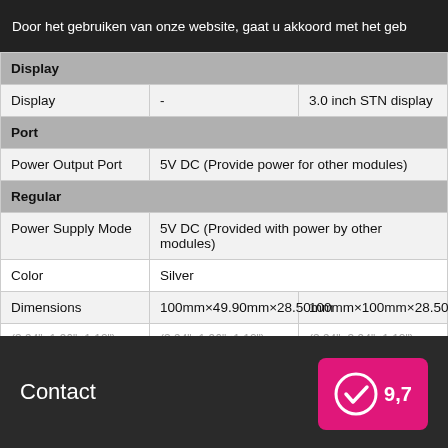Door het gebruiken van onze website, gaat u akkoord met het geb
| Display |  |  |
| Display | - | 3.0 inch STN display |
| Port |  |  |
| Power Output Port | 5V DC (Provide power for other modules) |  |
| Regular |  |  |
| Power Supply Mode | 5V DC (Provided with power by other modules) |  |
| Color | Silver |  |
| Dimensions | 100mm×49.90mm×28.50mm | 100mm×100mm×28.50mm |
Contact
9,7